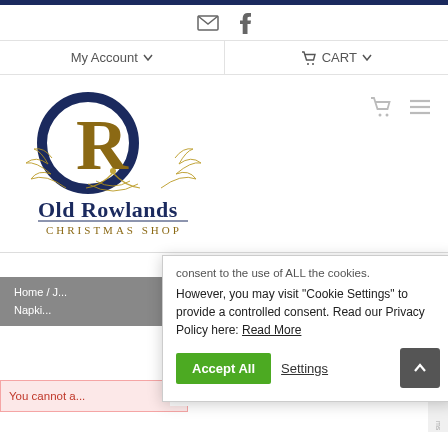[Figure (logo): Old Rowlands Christmas Shop logo with blue circle O and gold R lettermark, decorative antler/leaf motif, text 'Old Rowlands' and 'Christmas Shop']
My Account  CART
Home / J... Napki...
consent to the use of ALL the cookies. However, you may visit "Cookie Settings" to provide a controlled consent. Read our Privacy Policy here: Read More
Accept All  Settings
You cannot a...